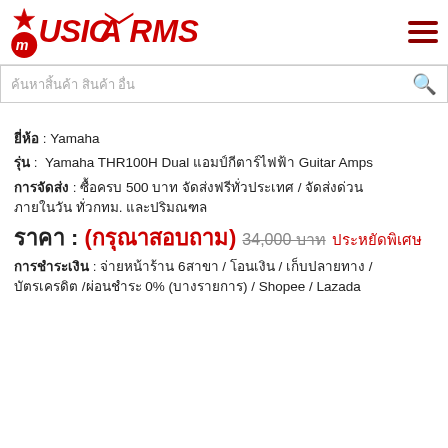[Figure (logo): MusicArms logo in red with white star, stylized text]
ค้นหาสิ้นค้า สินค้า อื่น
ยี่ห้อ : Yamaha
รุ่น :  Yamaha THR100H Dual แอมป์กีตาร์ไฟฟ้า Guitar Amps
การจัดส่ง : ซื้อครบ 500 บาท จัดส่งฟรีทั่วประเทศ / จัดส่งด่วน ภายในวัน ทั่วกทม. และปริมณฑล
ราคา : (กรุณาสอบถาม) 34,000 บาท ประหยัดพิเศษ
การชำระเงิน : จ่ายหน้าร้าน 6สาขา / โอนเงิน / เก็บปลายทาง / บัตรเครดิต /ผ่อนชำระ 0% (บางรายการ) / Shopee / Lazada